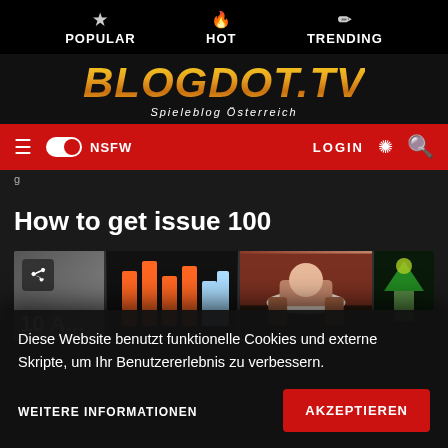POPULAR | HOT | TRENDING
[Figure (logo): BLOGDOT.TV logo with subtitle 'Spieleblog Österreich' on black background]
NSFW toggle | LOGIN | search
How to get issue 100
[Figure (screenshot): Image strip showing multiple blog post thumbnails]
Diese Website benutzt funktionelle Cookies und externe Skripte, um Ihr Benutzererlebnis zu verbessern.
WEITERE INFORMATIONEN
AKZEPTIEREN